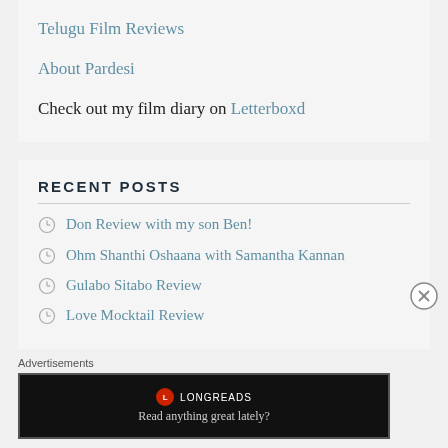Telugu Film Reviews
About Pardesi
Check out my film diary on Letterboxd
RECENT POSTS
Don Review with my son Ben!
Ohm Shanthi Oshaana with Samantha Kannan
Gulabo Sitabo Review
Love Mocktail Review
Advertisements
[Figure (screenshot): Longreads advertisement banner — black background with Longreads logo and tagline 'Read anything great lately?']